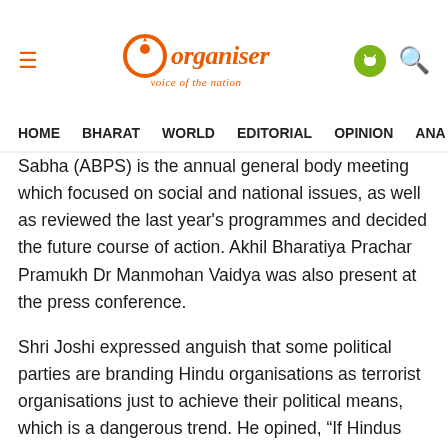Organiser – voice of the nation
HOME   BHARAT   WORLD   EDITORIAL   OPINION   ANA
Sabha (ABPS) is the annual general body meeting which focused on social and national issues, as well as reviewed the last year's programmes and decided the future course of action. Akhil Bharatiya Prachar Pramukh Dr Manmohan Vaidya was also present at the press conference.
Shri Joshi expressed anguish that some political parties are branding Hindu organisations as terrorist organisations just to achieve their political means, which is a dangerous trend. He opined, “If Hindus really want to become terrorists, who will survive then?” “The height of corruption the country is facing”, he said, “is dragging the common man also